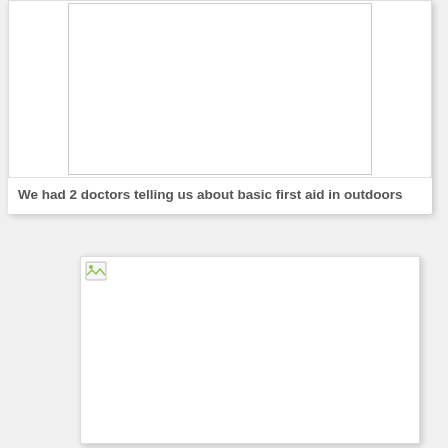[Figure (photo): Blank/missing image placeholder in top card (photo of doctors presenting first aid)]
We had 2 doctors telling us about basic first aid in outdoors
[Figure (photo): Second image placeholder with broken image icon in bottom card]